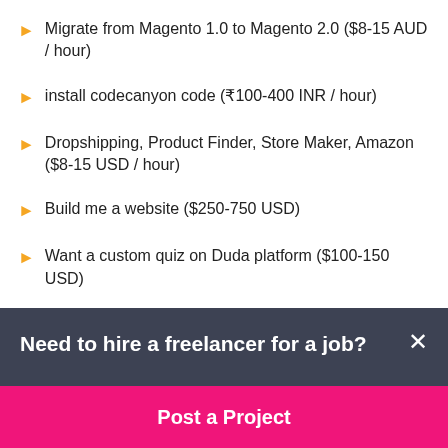Migrate from Magento 1.0 to Magento 2.0 ($8-15 AUD / hour)
install codecanyon code (₹100-400 INR / hour)
Dropshipping, Product Finder, Store Maker, Amazon ($8-15 USD / hour)
Build me a website ($250-750 USD)
Want a custom quiz on Duda platform ($100-150 USD)
Set up a Crypto Data Aggregator website from a script ($250-750 AUD)
Create a professional online store ($30-250 USD)
Need to hire a freelancer for a job?
Post a Project